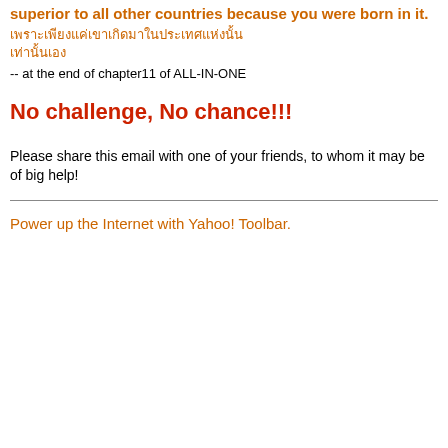superior to all other countries because you were born in it.
[Thai text characters]
-- at the end of chapter11 of ALL-IN-ONE
No challenge, No chance!!!
Please share this email with one of your friends, to whom it may be of big help!
Power up the Internet with Yahoo! Toolbar.